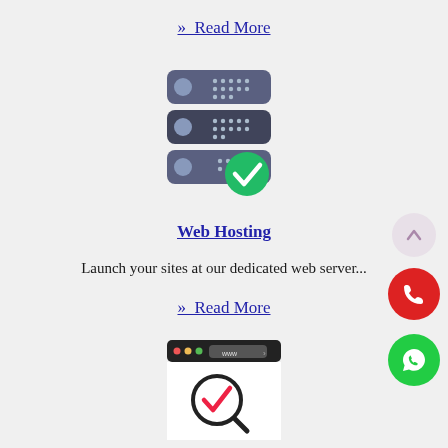» Read More
[Figure (illustration): Server stack icon with three dark blue/grey server units stacked vertically, each with a circular indicator on the left and dot-pattern on the right; a green checkmark circle badge overlaps the bottom-right corner]
Web Hosting
Launch your sites at our dedicated web server...
» Read More
[Figure (illustration): Browser window icon with a dark top bar showing colored dots and a www address bar, white content area with a red checkmark inside a magnifying glass]